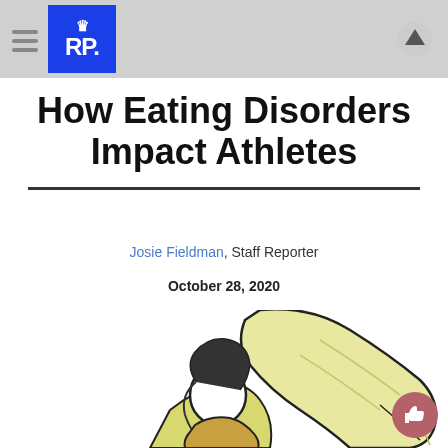RP. — navigation header with logo
How Eating Disorders Impact Athletes
Josie Fieldman, Staff Reporter
October 28, 2020
[Figure (illustration): Hand-drawn illustration of a figure (athlete) with arm raised, wearing a yellowish outfit, viewed from behind/side, with loose hair.]